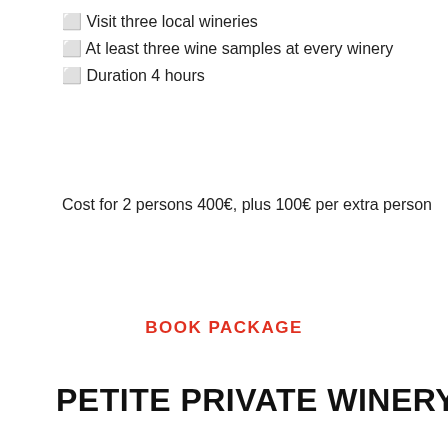✓ Visit three local wineries
✓ At least three wine samples at every winery
✓ Duration 4 hours
Cost for 2 persons 400€, plus 100€ per extra person
BOOK PACKAGE
PETITE PRIVATE WINERY TOUR
[Figure (photo): Aerial/scenic view of Santorini, Greece, showing white-washed buildings with blue domes on a cliffside overlooking the caldera and blue sea, with a clear blue sky above.]